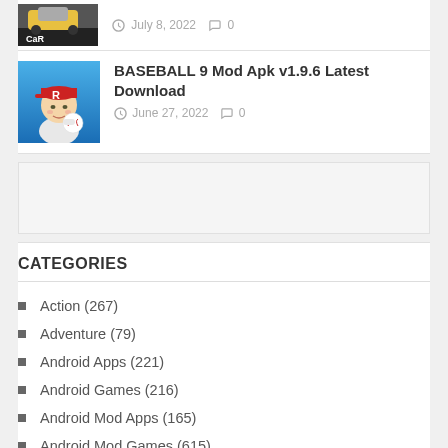[Figure (screenshot): Partial car game thumbnail and meta info showing July 8, 2022 and 0 comments]
[Figure (screenshot): BASEBALL 9 game app icon thumbnail — cartoon baseball player with red cap]
BASEBALL 9 Mod Apk v1.9.6 Latest Download
June 27, 2022   0
CATEGORIES
Action (267)
Adventure (79)
Android Apps (221)
Android Games (216)
Android Mod Apps (165)
Android Mod Games (615)